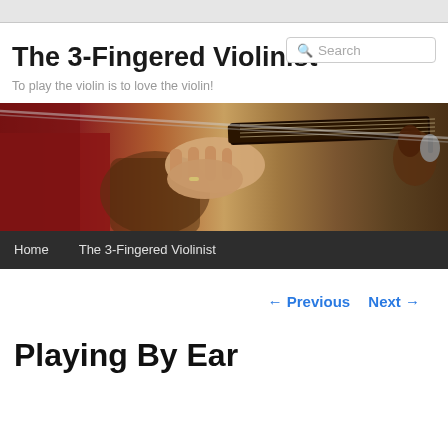The 3-Fingered Violinist
To play the violin is to love the violin!
[Figure (photo): Close-up photograph of a person's hand fingering the neck/fingerboard of a violin, wearing a red shirt and a ring, with the violin scroll visible on the right.]
Home   The 3-Fingered Violinist
← Previous   Next →
Playing By Ear